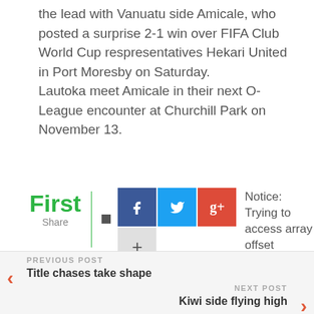the lead with Vanuatu side Amicale, who posted a surprise 2-1 win over FIFA Club World Cup respresentatives Hekari United in Port Moresby on Saturday.
Lautoka meet Amicale in their next O-League encounter at Churchill Park on November 13.
[Figure (other): Social share widget with 'First Share' branding, Facebook, Twitter, Google+ buttons, a plus button, and a partial error notice text 'Notice: Trying to access array offset']
Notice: Trying to access array offset
PREVIOUS POST
Title chases take shape
NEXT POST
Kiwi side flying high